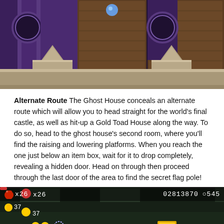[Figure (screenshot): Ghost House level screenshot showing stone platforms with purple stained glass windows and decorative arches in a dark haunted mansion setting, with a blue ghost orb visible near the top center]
Alternate Route The Ghost House conceals an alternate route which will allow you to head straight for the world's final castle, as well as hit-up a Gold Toad House along the way. To do so, head to the ghost house's second room, where you'll find the raising and lowering platforms. When you reach the one just below an item box, wait for it to drop completely, revealing a hidden door. Head on through then proceed through the last door of the area to find the secret flag pole!
[Figure (screenshot): New Super Mario Bros U gameplay screenshot showing Mario in a dark ghost house level with coins, a yellow brick block, score display showing 02813870, coin counter showing 0545, and lives showing x26 and x37]